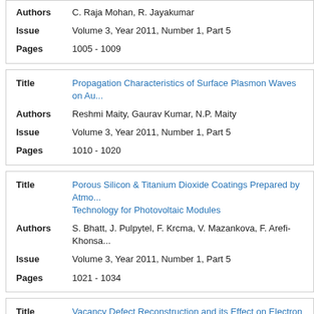| Field | Value |
| --- | --- |
| Authors | C. Raja Mohan, R. Jayakumar |
| Issue | Volume 3, Year 2011, Number 1, Part 5 |
| Pages | 1005 - 1009 |
| Field | Value |
| --- | --- |
| Title | Propagation Characteristics of Surface Plasmon Waves on Au... |
| Authors | Reshmi Maity, Gaurav Kumar, N.P. Maity |
| Issue | Volume 3, Year 2011, Number 1, Part 5 |
| Pages | 1010 - 1020 |
| Field | Value |
| --- | --- |
| Title | Porous Silicon & Titanium Dioxide Coatings Prepared by Atmo... Technology for Photovoltaic Modules |
| Authors | S. Bhatt, J. Pulpytel, F. Krcma, V. Mazankova, F. Arefi-Khonsa... |
| Issue | Volume 3, Year 2011, Number 1, Part 5 |
| Pages | 1021 - 1034 |
| Field | Value |
| --- | --- |
| Title | Vacancy Defect Reconstruction and its Effect on Electron Tra... |
| Authors | S. Choudhary, S. Qureshi |
| Issue | Volume 3, Year 2011, Number 1, Part 5 |